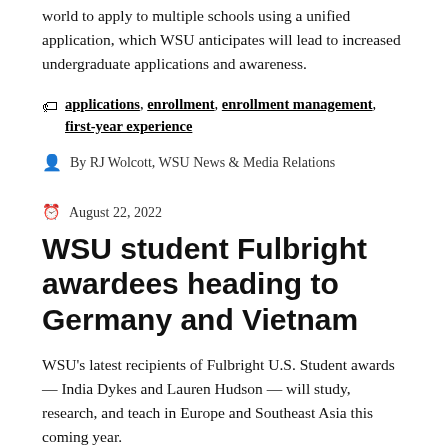The app allows prospective students from across the world to apply to multiple schools using a unified application, which WSU anticipates will lead to increased undergraduate applications and awareness.
🏷 applications, enrollment, enrollment management, first-year experience
By RJ Wolcott, WSU News & Media Relations
August 22, 2022
WSU student Fulbright awardees heading to Germany and Vietnam
WSU's latest recipients of Fulbright U.S. Student awards — India Dykes and Lauren Hudson — will study, research, and teach in Europe and Southeast Asia this coming year.
By Beverly Makhani, Division of Academic Engagement and